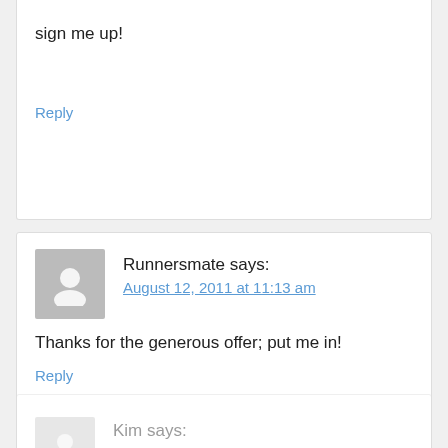sign me up!
Reply
Runnersmate says:
August 12, 2011 at 11:13 am
Thanks for the generous offer; put me in!
Reply
Kim says:
August 12, 2011 at 11:31 am